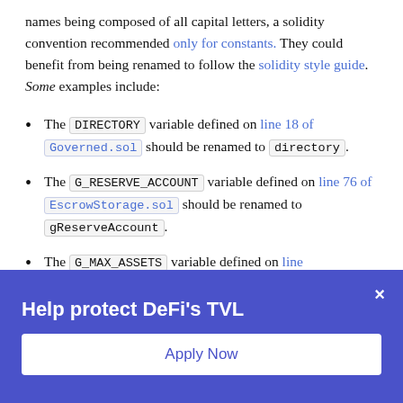names being composed of all capital letters, a solidity convention recommended only for constants. They could benefit from being renamed to follow the solidity style guide. Some examples include:
The DIRECTORY variable defined on line 18 of Governed.sol should be renamed to directory.
The G_RESERVE_ACCOUNT variable defined on line 76 of EscrowStorage.sol should be renamed to gReserveAccount.
The G_MAX_ASSETS variable defined on line
Help protect DeFi's TVL
Apply Now